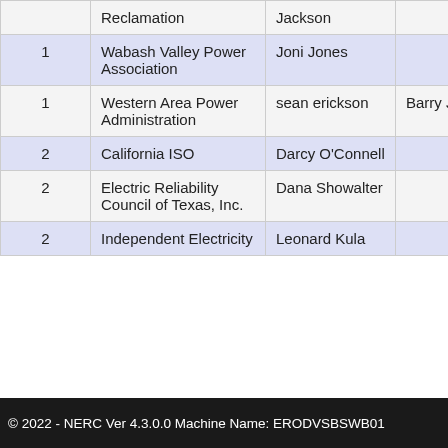|  | Organization | Name | Alternate |
| --- | --- | --- | --- |
|  | Reclamation | Jackson |  |
| 1 | Wabash Valley Power Association | Joni Jones |  |
| 1 | Western Area Power Administration | sean erickson | Barry Jones |
| 2 | California ISO | Darcy O'Connell |  |
| 2 | Electric Reliability Council of Texas, Inc. | Dana Showalter |  |
| 2 | Independent Electricity | Leonard Kula |  |
© 2022 - NERC Ver 4.3.0.0 Machine Name: ERODVSBSWB01